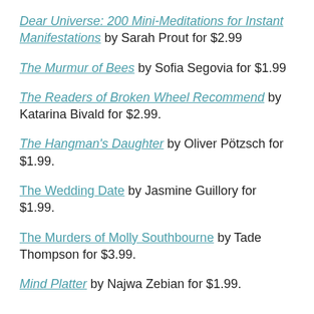Dear Universe: 200 Mini-Meditations for Instant Manifestations by Sarah Prout for $2.99
The Murmur of Bees by Sofia Segovia for $1.99
The Readers of Broken Wheel Recommend by Katarina Bivald for $2.99.
The Hangman's Daughter by Oliver Pötzsch for $1.99.
The Wedding Date by Jasmine Guillory for $1.99.
The Murders of Molly Southbourne by Tade Thompson for $3.99.
Mind Platter by Najwa Zebian for $1.99.